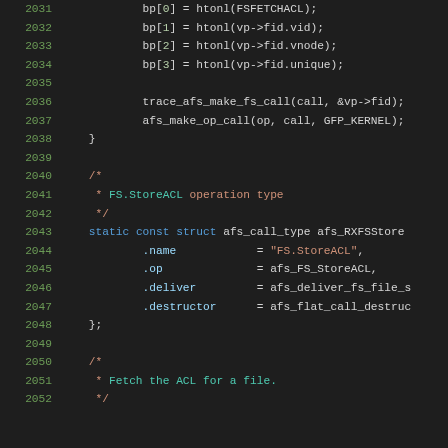[Figure (screenshot): Source code listing in a dark-themed code editor showing C code lines 2031–2052, with syntax highlighting. Lines include array assignments, function calls, a comment block about FS.StoreACL operation type, a static const struct definition, and a comment about fetching ACL for a file.]